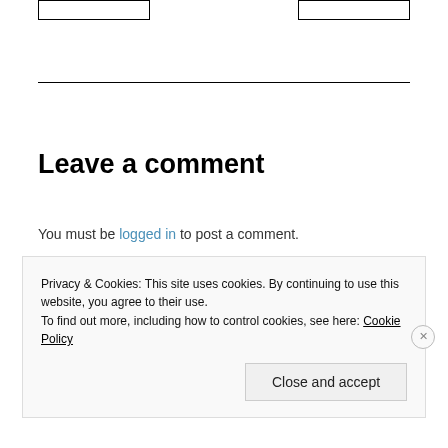[Figure (other): Two navigation button boxes partially visible at the top of the page]
Leave a comment
You must be logged in to post a comment.
Privacy & Cookies: This site uses cookies. By continuing to use this website, you agree to their use.
To find out more, including how to control cookies, see here: Cookie Policy
Close and accept